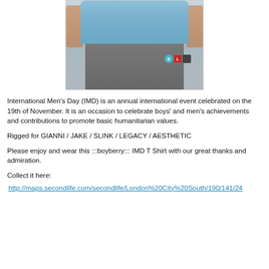[Figure (photo): 3D avatar of a man wearing a light blue t-shirt and grey sweatpants, with tattooed arms, showing small UI icons in the lower right area of the image]
International Men's Day (IMD) is an annual international event celebrated on the 19th of November. It is an occasion to celebrate boys' and men's achievements and contributions to promote basic humanitarian values.
Rigged for GIANNI / JAKE / SLINK / LEGACY / AESTHETIC
Please enjoy and wear this :::boyberry::: IMD T Shirt with our great thanks and admiration.
Collect it here:
http://maps.secondlife.com/secondlife/London%20City%20South/190/141/24